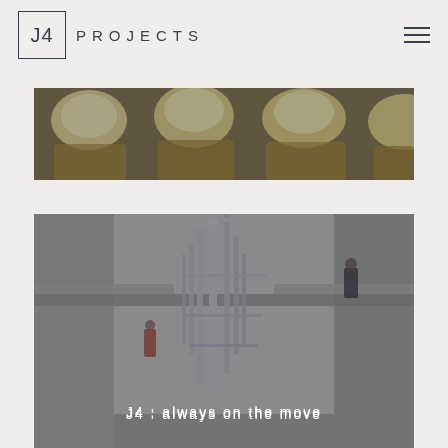J4 PROJECTS
[Figure (photo): Close-up photo of multiple cupcakes with light yellow frosting arranged in a row, with a dark overlay tint]
[Figure (photo): Interior architectural photo of a multi-story open atrium space with a large ornate chandelier/pipe structure in the center, balconies visible, people standing on upper level, with dark overlay tint]
J4 : always on the move